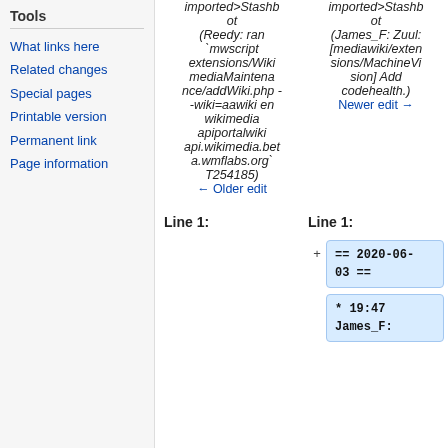Tools
What links here
Related changes
Special pages
Printable version
Permanent link
Page information
imported>Stashbot (Reedy: ran `mwscript extensions/WikimediaMaintenan ce/addWiki.php - -wiki=aawiki en wikimedia apiportalwiki api.wikimedia.bet a.wmflabs.org` T254185) ← Older edit
imported>Stashbot (James_F: Zuul: [mediawiki/extensions/MachineVision] Add codehealth.) Newer edit →
Line 1:
Line 1:
== 2020-06-03 ==
* 19:47 James_F: